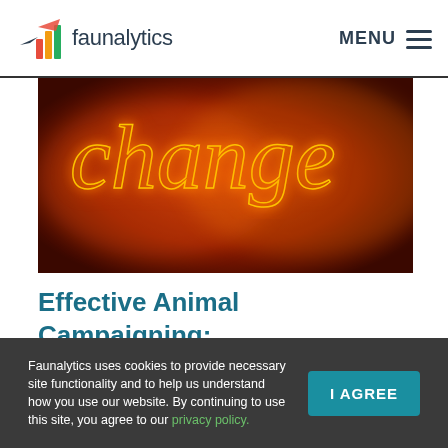faunalytics  MENU
[Figure (photo): Neon sign with cursive text reading 'change' in orange and red tones against a dark background]
Effective Animal Campaigning: Current Knowledge And Gui...
Faunalytics uses cookies to provide necessary site functionality and to help us understand how you use our website. By continuing to use this site, you agree to our privacy policy.